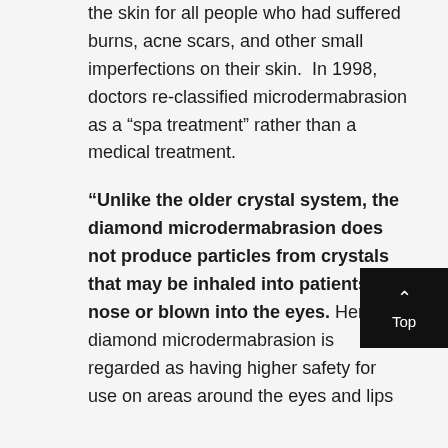the skin for all people who had suffered burns, acne scars, and other small imperfections on their skin.  In 1998, doctors re-classified microdermabrasion as a “spa treatment” rather than a medical treatment.
“Unlike the older crystal system, the diamond microdermabrasion does not produce particles from crystals that may be inhaled into patients’ nose or blown into the eyes. Hence, diamond microdermabrasion is regarded as having higher safety for use on areas around the eyes and lips.